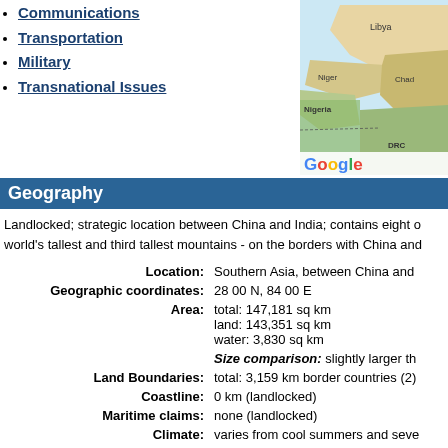Communications
Transportation
Military
Transnational Issues
[Figure (map): Google map showing North Africa region with Libya, Niger, Chad, Nigeria, DRC labeled]
Geography
Landlocked; strategic location between China and India; contains eight of world's tallest and third tallest mountains - on the borders with China and
| Field | Value |
| --- | --- |
| Location: | Southern Asia, between China and |
| Geographic coordinates: | 28 00 N, 84 00 E |
| Area: | total: 147,181 sq km
land: 143,351 sq km
water: 3,830 sq km |
| Size comparison: | slightly larger th |
| Land Boundaries: | total: 3,159 km border countries (2) |
| Coastline: | 0 km (landlocked) |
| Maritime claims: | none (landlocked) |
| Climate: | varies from cool summers and seve |
| Terrain: | Tarai or flat river plain of the Gange |